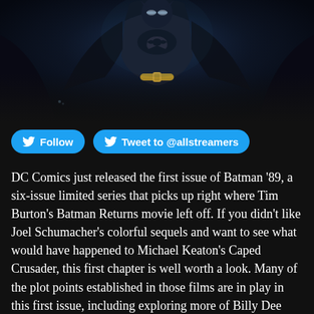[Figure (illustration): Dark comic book illustration of Batman in black suit with gold belt buckle, dramatic dark blue and black background with cape spread wide]
Follow   Tweet to @allstreamers
DC Comics just released the first issue of Batman '89, a six-issue limited series that picks up right where Tim Burton's Batman Returns movie left off. If you didn't like Joel Schumacher's colorful sequels and want to see what would have happened to Michael Keaton's Caped Crusader, this first chapter is well worth a look. Many of the plot points established in those films are in play in this first issue, including exploring more of Billy Dee Williams' take on Harvey Dent. As this series moves on month-to-month, we'll see him transform into Two-Face.